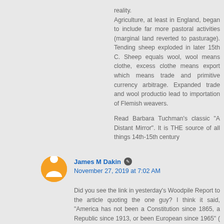reality. Agriculture, at least in England, began to include far more pastoral activities (marginal land reverted to pasturage). Tending sheep exploded in later 15th C. Sheep equals wool, wool means clothe, excess clothe means export which means trade and primitive currency arbitrage. Expanded trade and wool productio lead to importation of Flemish weavers.

Read Barbara Tuchman's classic "A Distant Mirror". It is THE source of all things 14th-15th century
James M Dakin  November 27, 2019 at 7:02 AM
Did you see the link in yesterday's Woodpile Report to the article quoting the one guy? I think it said, "America has not been a Constitution since 1865, a Republic since 1913, or been European since 1965" ( I might have butchered it